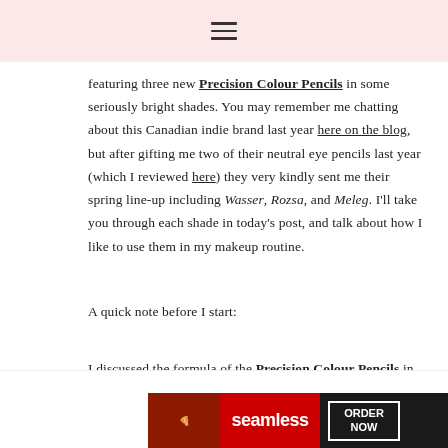≡ (hamburger menu icon)
featuring three new Precision Colour Pencils in some seriously bright shades. You may remember me chatting about this Canadian indie brand last year here on the blog, but after gifting me two of their neutral eye pencils last year (which I reviewed here) they very kindly sent me their spring line-up including Wasser, Rozsa, and Meleg. I'll take you through each shade in today's post, and talk about how I like to use them in my makeup routine.
A quick note before I start:
I discussed the formula of the Precision Colour Pencils in my earlier review linked above, but in short they are phenomenal! (In fact, I love them so much they made my
Advertisements
[Figure (screenshot): Seamless food delivery advertisement banner with pizza image, Seamless logo in red, and ORDER NOW button]